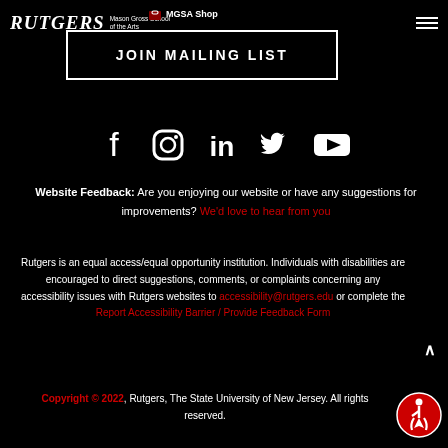Rutgers Mason Gross School of the Arts | MGSA Shop
JOIN MAILING LIST
[Figure (illustration): Social media icons row: Facebook, Instagram, LinkedIn, Twitter, YouTube]
Website Feedback: Are you enjoying our website or have any suggestions for improvements? We'd love to hear from you
Rutgers is an equal access/equal opportunity institution. Individuals with disabilities are encouraged to direct suggestions, comments, or complaints concerning any accessibility issues with Rutgers websites to accessibility@rutgers.edu or complete the Report Accessibility Barrier / Provide Feedback Form
Copyright © 2022, Rutgers, The State University of New Jersey. All rights reserved.